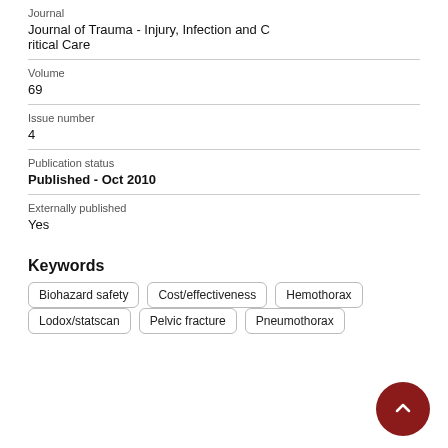Journal
Journal of Trauma - Injury, Infection and Critical Care
Volume
69
Issue number
4
Publication status
Published - Oct 2010
Externally published
Yes
Keywords
Biohazard safety
Cost/effectiveness
Hemothorax
Lodox/statscan
Pelvic fracture
Pneumothorax